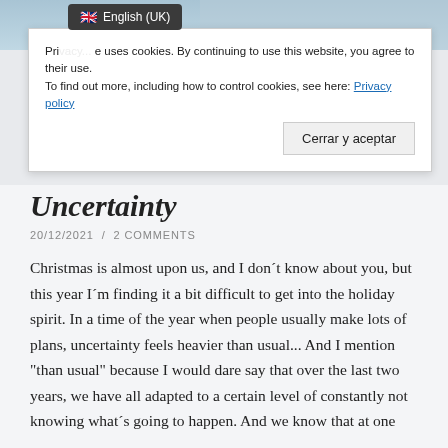[Figure (screenshot): Top partial image area showing a light blue/grey background, partially obscured by a language selector badge showing UK flag and 'English (UK)' text on a dark background]
Privacy... uses cookies. By continuing to use this website, you agree to their use.
To find out more, including how to control cookies, see here: Privacy policy
Cerrar y aceptar
Uncertainty
20/12/2021  /  2 COMMENTS
Christmas is almost upon us, and I don´t know about you, but this year I´m finding it a bit difficult to get into the holiday spirit. In a time of the year when people usually make lots of plans, uncertainty feels heavier than usual... And I mention "than usual" because I would dare say that over the last two years, we have all adapted to a certain level of constantly not knowing what´s going to happen. And we know that at one point...